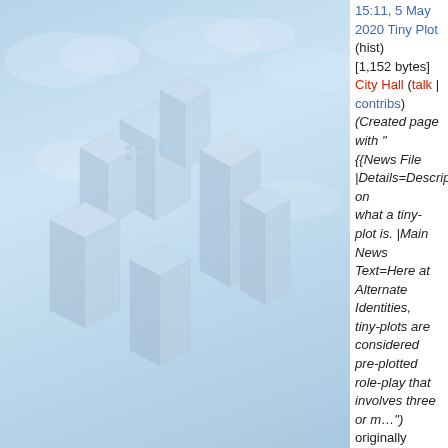15:11, 5 May 2020 Tiny Plot (hist) [1,152 bytes] City Hall (talk | contribs) (Created page with "{{News File |Details=Description on what a tiny-plot is. |Main News Text=Here at Alternate Identities, tiny-plots are considered pre-plotted role-play that involves three or m…") originally created as "Tiny Plots"
13:23, 5 May 2020 Tiny Plot Application (hist) [1,777 bytes] City Hall (talk | contribs) (Created page with "{{News File |Details=The tiny-plot application. |Main News Text="'1.'" Name: :The name of the tiny-plot. "'2.'" Characters Needed: :Who all is required to be in th…")
13:12, 5 May 2020 Warnings (hist) [702 bytes] City Hall (talk | contribs) (Created page with "{{News File |Details=Our policy...